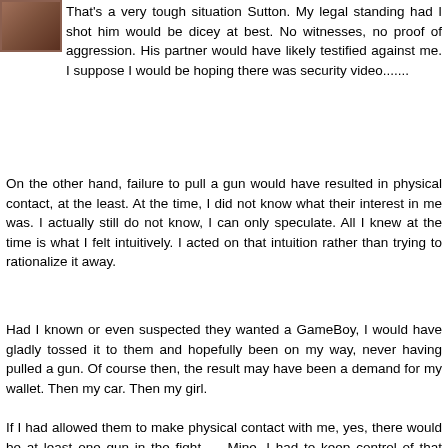[Figure (photo): Small avatar/profile photo thumbnail in upper left corner, brownish tones]
That's a very tough situation Sutton. My legal standing had I shot him would be dicey at best. No witnesses, no proof of aggression. His partner would have likely testified against me. I suppose I would be hoping there was security video.......
On the other hand, failure to pull a gun would have resulted in physical contact, at the least. At the time, I did not know what their interest in me was. I actually still do not know, I can only speculate. All I knew at the time is what I felt intuitively. I acted on that intuition rather than trying to rationalize it away.
Had I known or even suspected they wanted a GameBoy, I would have gladly tossed it to them and hopefully been on my way, never having pulled a gun. Of course then, the result may have been a demand for my wallet. Then my car. Then my girl.
If I had allowed them to make physical contact with me, yes, there would be at least one gun in the fight.......Mine. I had to keep control of that gun. That is one of the hazards of carrying a gun. The option of a physical fight is no longer...